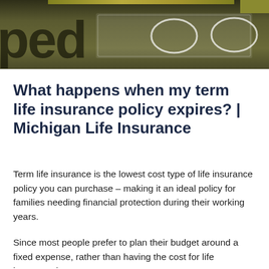[Figure (photo): Partial photo showing dark olive/green-brown background with partial white cursive text 'ped' visible on the left and curved shapes in the center-right area, appearing to be a cropped header image]
What happens when my term life insurance policy expires? | Michigan Life Insurance
Term life insurance is the lowest cost type of life insurance policy you can purchase – making it an ideal policy for families needing financial protection during their working years.
Since most people prefer to plan their budget around a fixed expense, rather than having the cost for life insurance increase